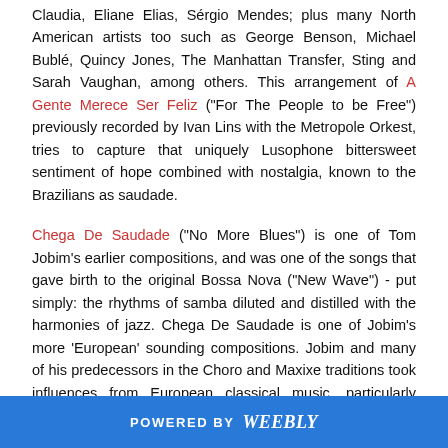Claudia, Eliane Elias, Sérgio Mendes; plus many North American artists too such as George Benson, Michael Bublé, Quincy Jones, The Manhattan Transfer, Sting and Sarah Vaughan, among others. This arrangement of A Gente Merece Ser Feliz ("For The People to be Free") previously recorded by Ivan Lins with the Metropole Orkest, tries to capture that uniquely Lusophone bittersweet sentiment of hope combined with nostalgia, known to the Brazilians as saudade.
Chega De Saudade ("No More Blues") is one of Tom Jobim's earlier compositions, and was one of the songs that gave birth to the original Bossa Nova ("New Wave") - put simply: the rhythms of samba diluted and distilled with the harmonies of jazz. Chega De Saudade is one of Jobim's more 'European' sounding compositions. Jobim and many of his predecessors in the Choro and Maxixe traditions took influences from European classical music, particularly Beethoven. Chega De Saudade is in a symphonic 'AABC' form, complete with theme, development and recapitulation...
POWERED BY weebly